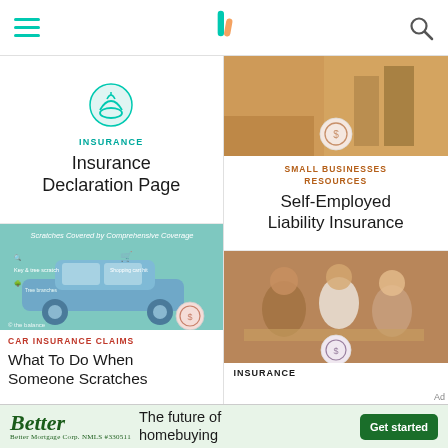Navigation bar with hamburger menu, logo, and search icon
[Figure (screenshot): Card: Insurance Declaration Page with teal hand icon]
INSURANCE
Insurance Declaration Page
[Figure (infographic): Scratches Covered by Comprehensive Coverage – car illustration infographic by The Balance]
CAR INSURANCE CLAIMS
What To Do When Someone Scratches
[Figure (photo): Room interior with wooden furniture and plants background]
SMALL BUSINESSES RESOURCES
Self-Employed Liability Insurance
[Figure (photo): Three people sitting at a table discussing insurance documents]
INSURANCE
Better – The future of homebuying – Get started – Better Mortgage Corp. NMLS #330511 – Ad